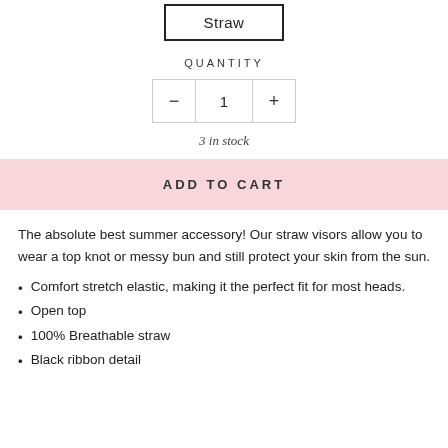Straw
QUANTITY
1
3 in stock
ADD TO CART
The absolute best summer accessory! Our straw visors allow you to wear a top knot or messy bun and still protect your skin from the sun.
Comfort stretch elastic, making it the perfect fit for most heads.
Open top
100% Breathable straw
Black ribbon detail